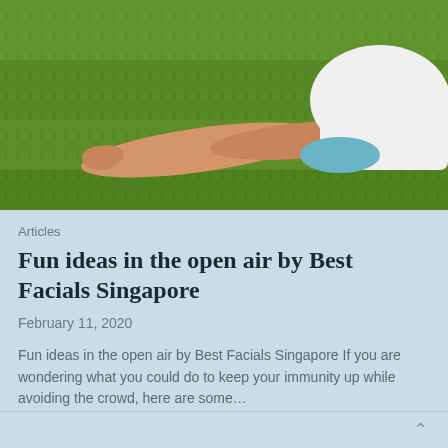[Figure (photo): Person sitting on green grass outdoors, stretching legs, wearing white top and light blue/teal shorts, photographed from above/side angle showing legs and hands on grass]
Articles
Fun ideas in the open air by Best Facials Singapore
February 11, 2020
Fun ideas in the open air by Best Facials Singapore If you are wondering what you could do to keep your immunity up while avoiding the crowd, here are some…
Read More »